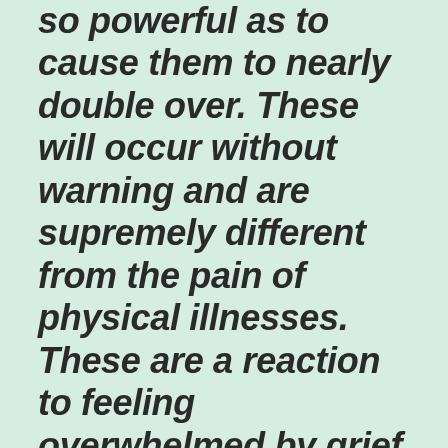so powerful as to cause them to nearly double over. These will occur without warning and are supremely different from the pain of physical illnesses. These are a reaction to feeling overwhelmed by grief. With time and the proper support, these waves will